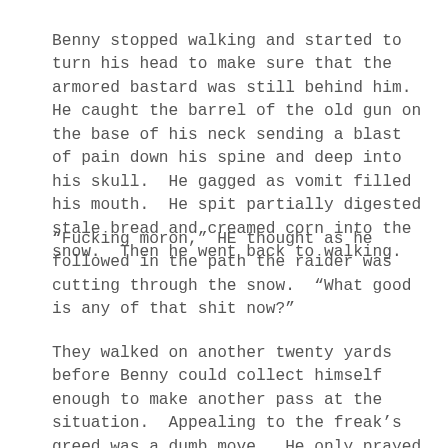Benny stopped walking and started to turn his head to make sure that the armored bastard was still behind him.  He caught the barrel of the old gun on the base of his neck sending a blast of pain down his spine and deep into his skull.  He gagged as vomit filled his mouth.  He spit partially digested stale bread and creamed corn into the snow.  Then he went back to walking.
“Fucking moron,” HE thought as he followed in the path the raider was cutting through the snow.  “What good is any of that shit now?”
They walked on another twenty yards before Benny could collect himself enough to make another pass at the situation.  Appealing to the freak’s greed was a dumb move.  He only prayed that he hadn’t completely burned the bridge.